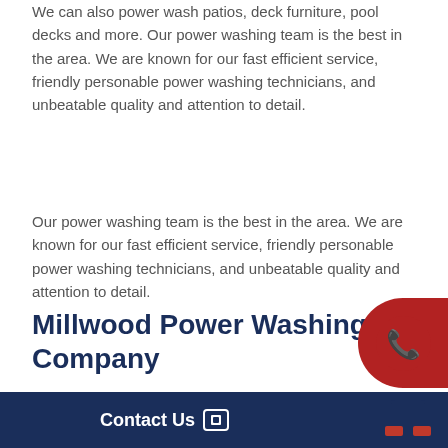We can also power wash patios, deck furniture, pool decks and more. Our power washing team is the best in the area. We are known for our fast efficient service, friendly personable power washing technicians, and unbeatable quality and attention to detail.
Our power washing team is the best in the area. We are known for our fast efficient service, friendly personable power washing technicians, and unbeatable quality and attention to detail.
Millwood Power Washing Company
[Figure (illustration): Red phone icon button on right side]
We are dedicated to Power Washing and deck
Contact Us